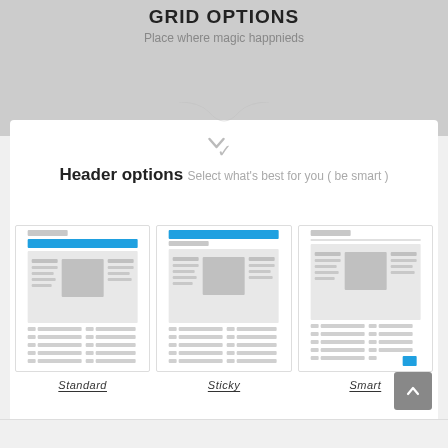GRID OPTIONS
Place where magic happnieds
Header options
Select what's best for you ( be smart )
[Figure (screenshot): Three wireframe mockups side by side labeled Standard, Sticky, and Smart, each showing a page layout with a blue header bar and content placeholders]
Standard
Sticky
Smart